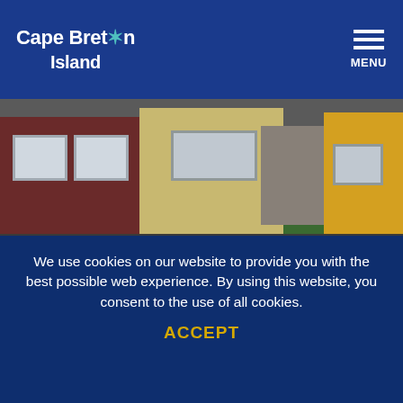Cape Breton Island — MENU
[Figure (photo): Exterior photo of Rusty Anchor Restaurant buildings with parking lot in foreground. Buildings include a dark red/maroon structure on the left with white windows, a yellow/beige building in the center, stone wall section, and a yellow building on the right. Green grass and dark asphalt parking area visible.]
Rusty Anchor Restaurant
TripAdvisor Traveler Rating
We use cookies on our website to provide you with the best possible web experience. By using this website, you consent to the use of all cookies.
ACCEPT